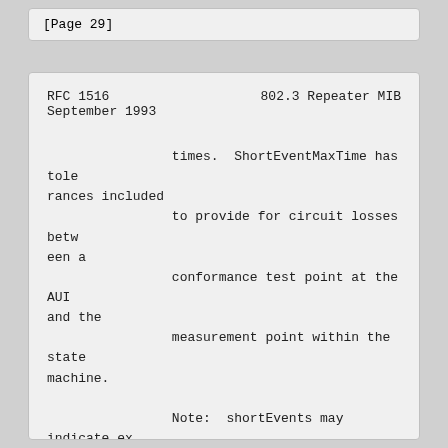[Page 29]
RFC 1516                    802.3 Repeater MIB
September 1993
times.  ShortEventMaxTime has tolerances included
                to provide for circuit losses between a
                conformance test point at the AUI and the
                measurement point within the state machine.

                Note:  shortEvents may indicate externally
                generated noise hits which will cause the repeater